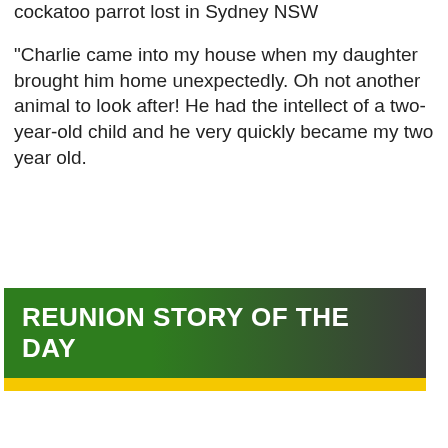cockatoo parrot lost in Sydney NSW
"Charlie came into my house when my daughter brought him home unexpectedly. Oh not another animal to look after! He had the intellect of a two-year-old child and he very quickly became my two year old.
[Figure (infographic): Green and dark grey banner with bold white text reading REUNION STORY OF THE DAY, with a yellow strip at the bottom]